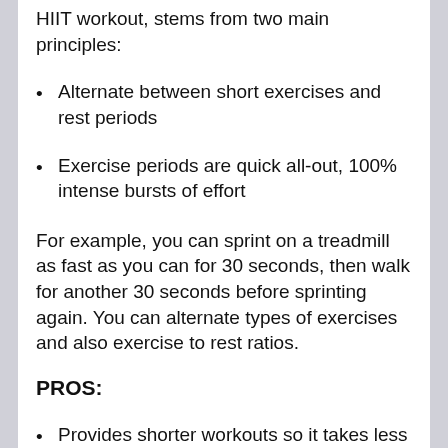HIIT workout, stems from two main principles:
Alternate between short exercises and rest periods
Exercise periods are quick all-out, 100% intense bursts of effort
For example, you can sprint on a treadmill as fast as you can for 30 seconds, then walk for another 30 seconds before sprinting again. You can alternate types of exercises and also exercise to rest ratios.
PROS:
Provides shorter workouts so it takes less time